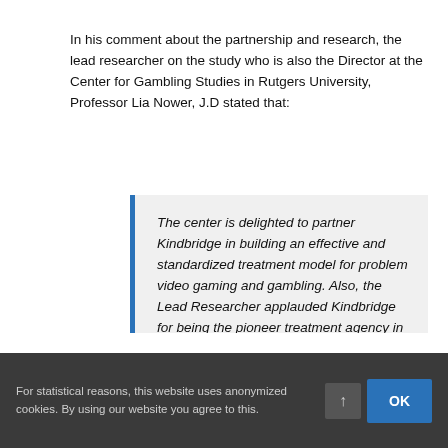In his comment about the partnership and research, the lead researcher on the study who is also the Director at the Center for Gambling Studies in Rutgers University, Professor Lia Nower, J.D stated that:
The center is delighted to partner Kindbridge in building an effective and standardized treatment model for problem video gaming and gambling. Also, the Lead Researcher applauded Kindbridge for being the pioneer treatment agency in the United States of America that is solely focused on these areas. Nower concluded that Kindbridge fills an unmet need by delivering
For statistical reasons, this website uses anonymized cookies. By using our website you agree to this.